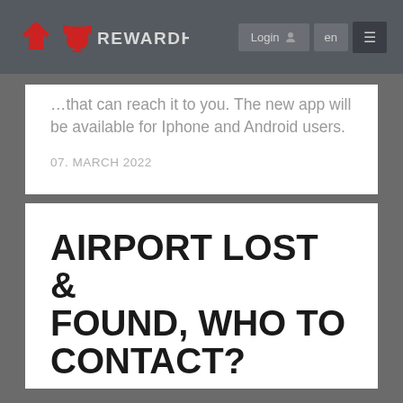REWARDHERO — Login | en | menu
…that can reach it to you. The new app will be available for Iphone and Android users.
07. MARCH 2022
AIRPORT LOST & FOUND, WHO TO CONTACT?